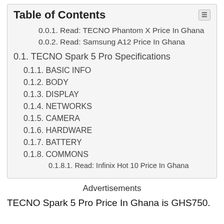Table of Contents
0.0.1. Read: TECNO Phantom X Price In Ghana
0.0.2. Read: Samsung A12 Price In Ghana
0.1. TECNO Spark 5 Pro Specifications
0.1.1. BASIC INFO
0.1.2. BODY
0.1.3. DISPLAY
0.1.4. NETWORKS
0.1.5. CAMERA
0.1.6. HARDWARE
0.1.7. BATTERY
0.1.8. COMMONS
0.1.8.1. Read: Infinix Hot 10 Price In Ghana
Advertisements
TECNO Spark 5 Pro Price In Ghana is GHS750.